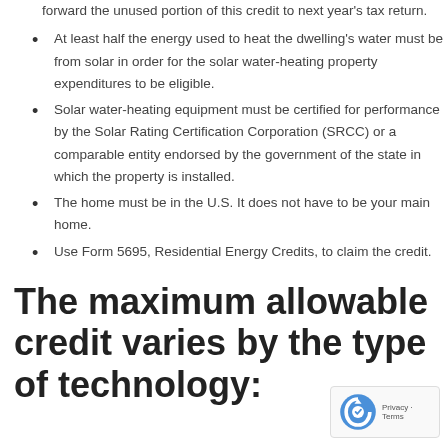forward the unused portion of this credit to next year's tax return.
At least half the energy used to heat the dwelling's water must be from solar in order for the solar water-heating property expenditures to be eligible.
Solar water-heating equipment must be certified for performance by the Solar Rating Certification Corporation (SRCC) or a comparable entity endorsed by the government of the state in which the property is installed.
The home must be in the U.S. It does not have to be your main home.
Use Form 5695, Residential Energy Credits, to claim the credit.
The maximum allowable credit varies by the type of technology: